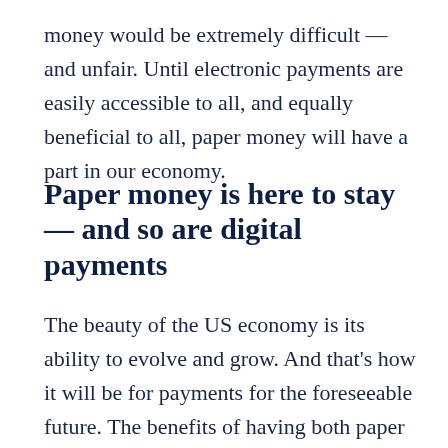money would be extremely difficult — and unfair. Until electronic payments are easily accessible to all, and equally beneficial to all, paper money will have a part in our economy.
Paper money is here to stay — and so are digital payments
The beauty of the US economy is its ability to evolve and grow. And that's how it will be for payments for the foreseeable future. The benefits of having both paper money and digital currency available is that consumers,